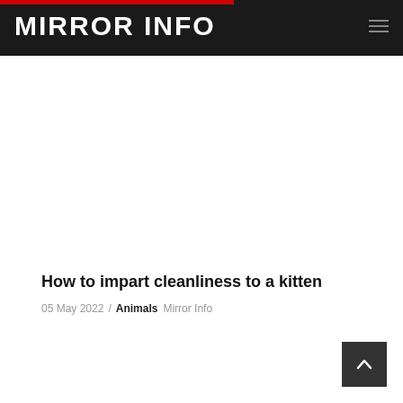MIRROR INFO
How to impart cleanliness to a kitten
05 May 2022 / Animals Mirror Info